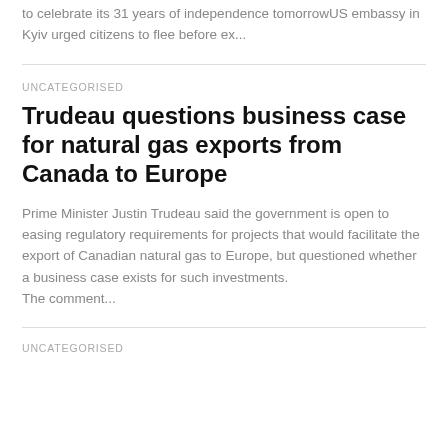to celebrate its 31 years of independence tomorrowUS embassy in Kyiv urged citizens to flee before ex...
UNCATEGORISED
Trudeau questions business case for natural gas exports from Canada to Europe
Prime Minister Justin Trudeau said the government is open to easing regulatory requirements for projects that would facilitate the export of Canadian natural gas to Europe, but questioned whether a business case exists for such investments.
The comment...
UNCATEGORISED